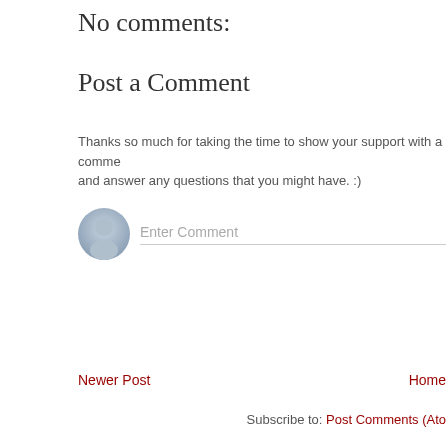No comments:
Post a Comment
Thanks so much for taking the time to show your support with a comment and answer any questions that you might have. :)
[Figure (illustration): Generic user avatar icon — circular gray silhouette of a person]
Enter Comment
Newer Post
Home
Subscribe to: Post Comments (Ato